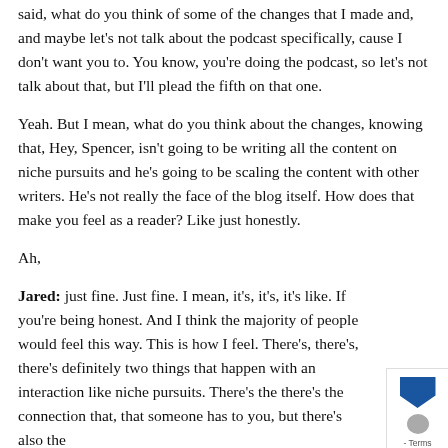said, what do you think of some of the changes that I made and, and maybe let's not talk about the podcast specifically, cause I don't want you to. You know, you're doing the podcast, so let's not talk about that, but I'll plead the fifth on that one.
Yeah. But I mean, what do you think about the changes, knowing that, Hey, Spencer, isn't going to be writing all the content on niche pursuits and he's going to be scaling the content with other writers. He's not really the face of the blog itself. How does that make you feel as a reader? Like just honestly.
Ah,
Jared: just fine. Just fine. I mean, it's, it's, it's like. If you're being honest. And I think the majority of people would feel this way. This is how I feel. There's, there's, there's definitely two things that happen with an interaction like niche pursuits. There's the there's the connection that, that someone has to you, but there's also the